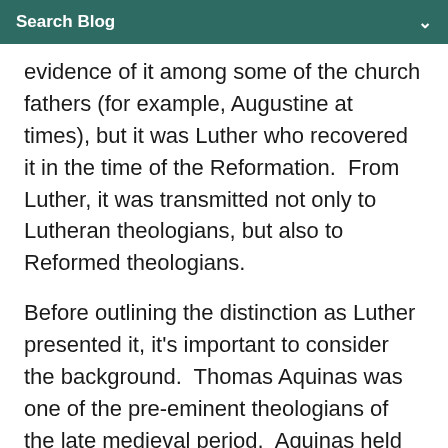Search Blog
evidence of it among some of the church fathers (for example, Augustine at times), but it was Luther who recovered it in the time of the Reformation.  From Luther, it was transmitted not only to Lutheran theologians, but also to Reformed theologians.
Before outlining the distinction as Luther presented it, it's important to consider the background.  Thomas Aquinas was one of the pre-eminent theologians of the late medieval period.  Aquinas held that justification takes place through progressive moral transformation, with the help of infused grace.  Thomas maintained that the Old Testament divine action...